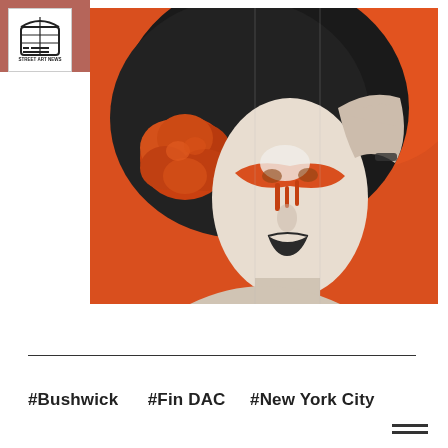[Figure (logo): Street Art News logo: a stylized globe/building with the text 'STREET ART NEWS' inside a white square box with border]
[Figure (photo): Street mural photograph showing a large-scale painted portrait of a woman with a big afro hairstyle, an orange flower tucked in her hair, orange paint dripping across her face like a mask, hand raised to her forehead, on an orange background. Artist: Fin DAC. Location: Bushwick, New York City.]
#Bushwick   #Fin DAC   #New York City